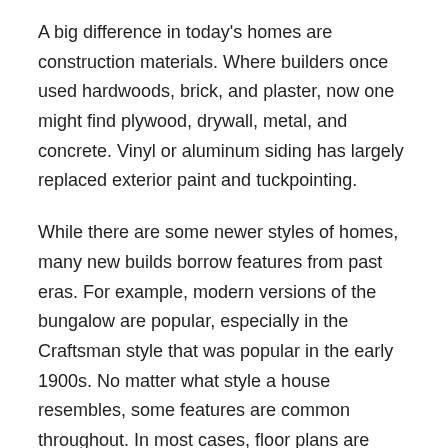A big difference in today's homes are construction materials. Where builders once used hardwoods, brick, and plaster, now one might find plywood, drywall, metal, and concrete. Vinyl or aluminum siding has largely replaced exterior paint and tuckpointing.
While there are some newer styles of homes, many new builds borrow features from past eras. For example, modern versions of the bungalow are popular, especially in the Craftsman style that was popular in the early 1900s. No matter what style a house resembles, some features are common throughout. In most cases, floor plans are open rather than sectioned-off rooms. People want “smart homes” that incorporate the latest technology into daily life.
These are some of the types of homes built in recent